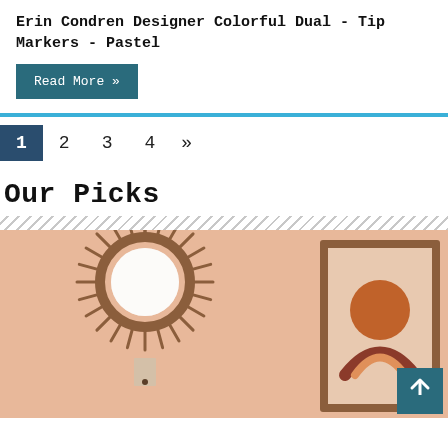Erin Condren Designer Colorful Dual - Tip Markers - Pastel
Read More »
1  2  3  4  »
Our Picks
[Figure (photo): Interior decor scene showing a rattan sunburst mirror hanging on a peach/salmon wall, a framed abstract art print, and a small wall-mounted item below the mirror.]